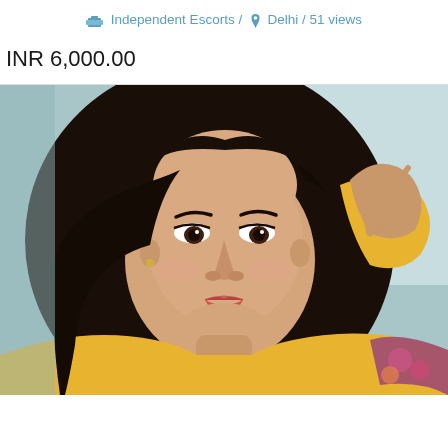Independent Escorts / Delhi / 51 views
INR 6,000.00
[Figure (photo): Portrait photo of a young woman with long dark hair, wearing a yellow top, with one hand raised behind her head, against a light blue-grey background. She is wearing gold jewelry and has red lipstick.]